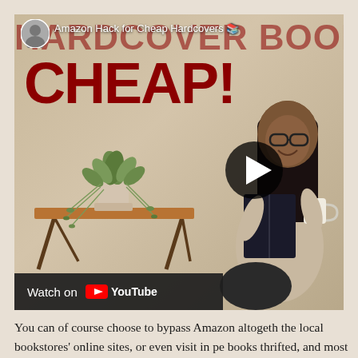[Figure (screenshot): YouTube video thumbnail showing 'Amazon Hack for Cheap Hardcovers' video. Background text reads 'HARDCOVER BOOKS', large dark red text reads 'CHEAP!', a woman with glasses reads a book, a plant on a wooden table is visible, a YouTube play button is shown, and a 'Watch on YouTube' bar appears at the bottom.]
You can of course choose to bypass Amazon altogether, the local bookstores' online sites, or even visit in pe books thrifted, and most of that from library books. tip I've used, especially to find books that have falle